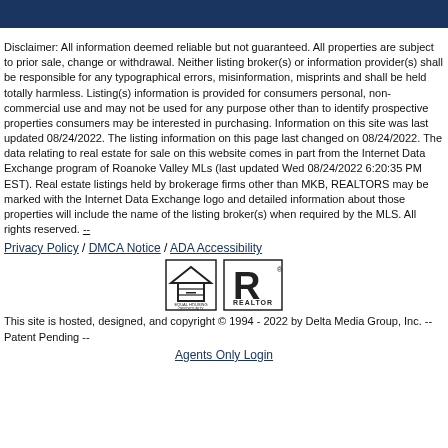Disclaimer: All information deemed reliable but not guaranteed. All properties are subject to prior sale, change or withdrawal. Neither listing broker(s) or information provider(s) shall be responsible for any typographical errors, misinformation, misprints and shall be held totally harmless. Listing(s) information is provided for consumers personal, non-commercial use and may not be used for any purpose other than to identify prospective properties consumers may be interested in purchasing. Information on this site was last updated 08/24/2022. The listing information on this page last changed on 08/24/2022. The data relating to real estate for sale on this website comes in part from the Internet Data Exchange program of Roanoke Valley MLs (last updated Wed 08/24/2022 6:20:35 PM EST). Real estate listings held by brokerage firms other than MKB, REALTORS may be marked with the Internet Data Exchange logo and detailed information about those properties will include the name of the listing broker(s) when required by the MLS. All rights reserved. --
Privacy Policy / DMCA Notice / ADA Accessibility
[Figure (logo): Equal Housing Opportunity and REALTOR logos]
This site is hosted, designed, and copyright © 1994 - 2022 by Delta Media Group, Inc. -- Patent Pending --
Agents Only Login